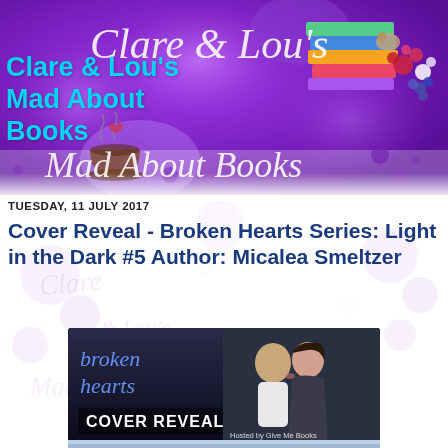[Figure (illustration): Clare & Lou's Mad About Books blog header banner with purple watercolor background, stacked colorful books illustration top right, coffee cup with hearts, circular purple watercolor splatters, and cursive 'Mad About Books' script text overlaid]
Clare & Lou's Mad About Books
TUESDAY, 11 JULY 2017
Cover Reveal - Broken Hearts Series: Light in the Dark #5 Author: Micalea Smeltzer
[Figure (illustration): Cover reveal promotional banner for Broken Hearts series showing couple kissing in rain on right side, 'broken hearts' cursive text on left, 'COVER REVEAL' in white text at bottom left, 'Hosted by Give Me Books' text bottom right, dark atmospheric background]